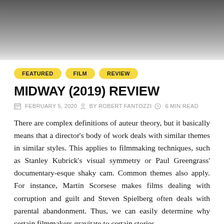[Figure (photo): Dark gray gradient hero image, fading from dark at top to lighter at bottom]
FEATURED
FILM
REVIEW
MIDWAY (2019) REVIEW
FEBRUARY 5, 2020  BY ROBERT FANTOZZI  6 MIN READ
There are complex definitions of auteur theory, but it basically means that a director's body of work deals with similar themes in similar styles. This applies to filmmaking techniques, such as Stanley Kubrick's visual symmetry or Paul Greengrass' documentary-esque shaky cam. Common themes also apply. For instance, Martin Scorsese makes films dealing with corruption and guilt and Steven Spielberg often deals with parental abandonment. Thus, we can easily determine why certain filmmakers gravitate to certain stories